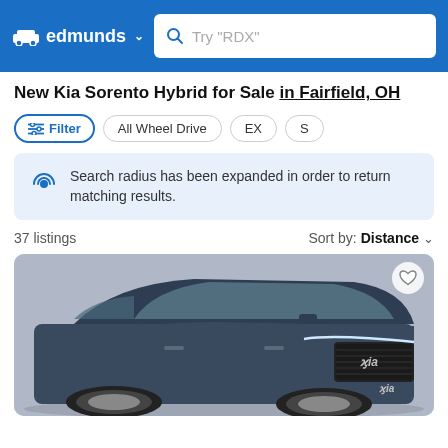edmunds — Search bar: Try "RDX"
New Kia Sorento Hybrid for Sale in Fairfield, OH
Filter  All Wheel Drive  EX  S
Search radius has been expanded in order to return matching results.
37 listings  Sort by: Distance
[Figure (photo): Front three-quarter view of a dark blue Kia Sorento Hybrid SUV]